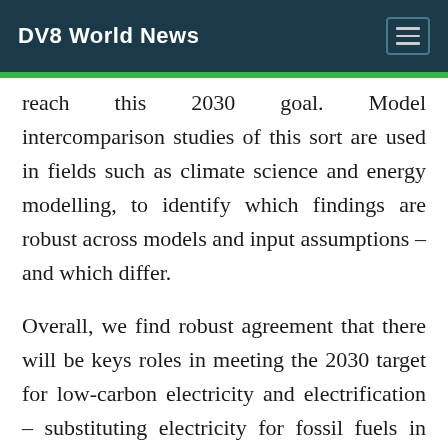DV8 World News
reach this 2030 goal. Model intercomparison studies of this sort are used in fields such as climate science and energy modelling, to identify which findings are robust across models and input assumptions – and which differ.
Overall, we find robust agreement that there will be keys roles in meeting the 2030 target for low-carbon electricity and electrification – substituting electricity for fossil fuels in transport, buildings and industry. The models also